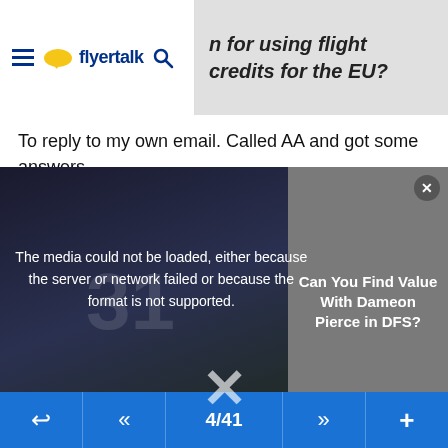flyertalk — n for using flight credits for the EU?
To reply to my own email. Called AA and got some answers.
[Figure (screenshot): Video media player overlay showing error message: 'The media could not be loaded, either because the server or network failed or because the format is not supported.' Over a dark background with a football player wearing jersey #31. Right side shows an ad overlay: 'Can You Find Value With Dameon Pierce in DFS?' with a close button. A large X dismiss button is shown at the bottom center.]
(4/22 - not flown) that they can't tell me the value but whatever value it has is only good on a US-EU one-way (PROBABLY A THROW AWAY)
The 2018 no was for a flight voucher (for cancelled/delayed flight in US) that they would not let me apply to an ex-EU itnerary.
4/41